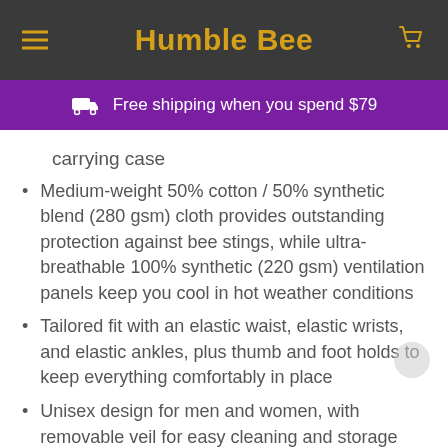Humble Bee
Free shipping when you spend $79
carrying case
Medium-weight 50% cotton / 50% synthetic blend (280 gsm) cloth provides outstanding protection against bee stings, while ultra-breathable 100% synthetic (220 gsm) ventilation panels keep you cool in hot weather conditions
Tailored fit with an elastic waist, elastic wrists, and elastic ankles, plus thumb and foot holds to keep everything comfortably in place
Unisex design for men and women, with removable veil for easy cleaning and storage
Professional-grade beekeeping suits. Designed for comfort. Built to last.